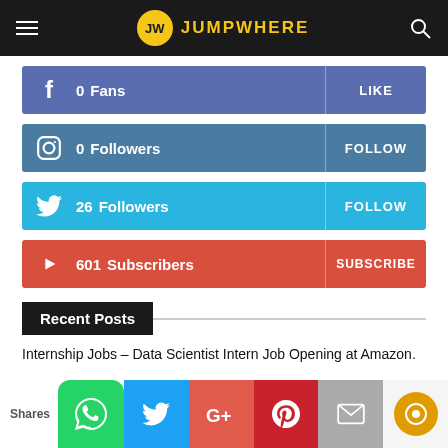JW JUMPWHERE
0  Fans  LIKE
0  Followers  FOLLOW
26  Followers  FOLLOW
601  Subscribers  SUBSCRIBE
Recent Posts
Internship Jobs – Data Scientist Intern Job Opening at Amazon.
Internship Job – Intern Job Opening at AMD.
Shares